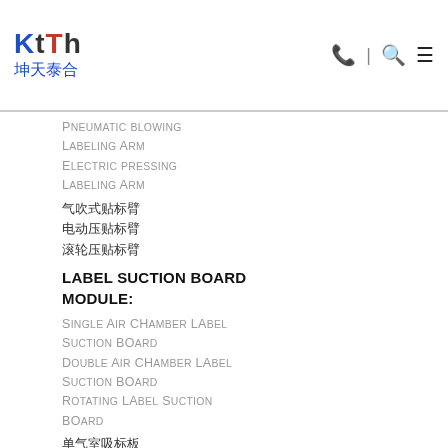KTTH 坤天泰合
Pneumatic blowing labeling Arm
Electric pressing labeling Arm
气吹式贴标臂
电动压贴标臂
滚轮压贴标臂
Label suction board module:
Single Air Chamber Label Suction Board
Double Air Chamber Label Suction Board
Rotating Label Suction Board
单气室吸标板
双气室/旋转式吸标板
Labeling sensor:
Off-Label Sensor/ Missing Label Sensor
贴标传感器
缺标/漏标检测传感器